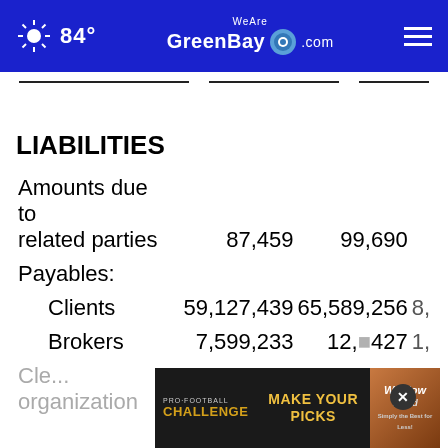84° WeAreGreenBay.com
LIABILITIES
|  | Col1 | Col2 | Col3 |
| --- | --- | --- | --- |
| Amounts due to related parties | 87,459 | 99,690 |  |
| Payables: |  |  |  |
| Clients | 59,127,439 | 65,589,256 | 8,… |
| Brokers | 7,599,233 | 12,…427 | 1,… |
| Clearing organization | 393,782 | 603,…39 |  |
[Figure (screenshot): Pro Football Challenge advertisement banner: MAKE YOUR PICKS with Window World logo]